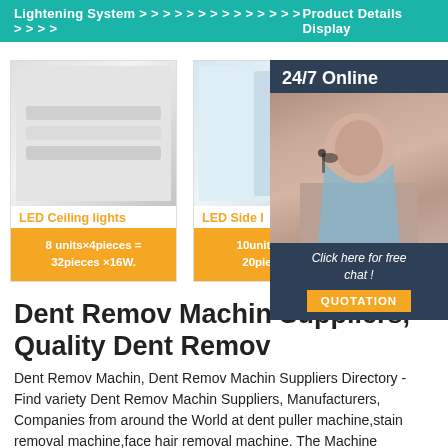Lightening System > > > > > > > > > > > > > > > > > > Product Details Display
[Figure (photo): LED Ceiling lights product card with image, orange title and orange description box showing 8 units × 4pieces = 32pieces × 16W.]
[Figure (photo): LED Side light product card with image, orange title and orange description box showing 10units × 2p, 20pieces ×]
[Figure (photo): 24/7 Online chat widget with woman wearing headset, dark navy background, italic text 'Click here for free chat!' and orange QUOTATION button]
Dent Remov Machin Suppliers, Quality Dent Remov
Dent Remov Machin, Dent Remov Machin Suppliers Directory - Find variety Dent Remov Machin Suppliers, Manufacturers, Companies from around the World at dent puller machine,stain removal machine,face hair removal machine. The Machine Machine...